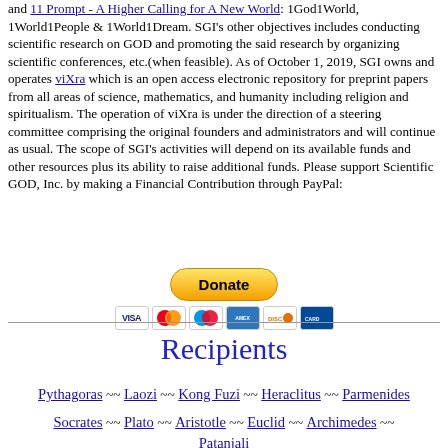and 11 Prompt - A Higher Calling for A New World: 1God1World, 1World1People & 1World1Dream. SGI's other objectives includes conducting scientific research on GOD and promoting the said research by organizing scientific conferences, etc.(when feasible). As of October 1, 2019, SGI owns and operates viXra which is an open access electronic repository for preprint papers from all areas of science, mathematics, and humanity including religion and spiritualism. The operation of viXra is under the direction of a steering committee comprising the original founders and administrators and will continue as usual. The scope of SGI's activities will depend on its available funds and other resources plus its ability to raise additional funds. Please support Scientific GOD, Inc. by making a Financial Contribution through PayPal:
[Figure (other): PayPal Donate button with credit card logos (Visa, Mastercard, Maestro, American Express, Discover, and another card)]
Recipients
Pythagoras ~~ Laozi ~~ Kong Fuzi ~~ Heraclitus ~~ Parmenides
Socrates ~~ Plato ~~ Aristotle ~~ Euclid ~~ Archimedes ~~ Patanjali